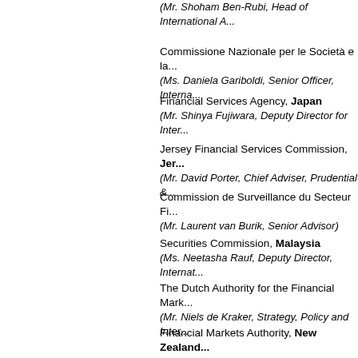(Mr. Shoham Ben-Rubi, Head of International A...
Commissione Nazionale per le Società e la... (Ms. Daniela Gariboldi, Senior Officer, Interna...)
Financial Services Agency, Japan (Mr. Shinya Fujiwara, Deputy Director for Inter...)
Jersey Financial Services Commission, Jersey (Mr. David Porter, Chief Adviser, Prudential &...)
Commission de Surveillance du Secteur Fi... (Mr. Laurent van Burik, Senior Advisor)
Securities Commission, Malaysia (Ms. Neetasha Rauf, Deputy Director, Interna...)
The Dutch Authority for the Financial Mark... (Mr. Niels de Kraker, Strategy, Policy and Inter...)
Financial Markets Authority, New Zealand (Mr. Liam Mason, General Counsel)
Ontario Securities Commission, Ontario (Ms. Cindy Wan, Manager, Global Affairs)
Securities and Exchange Commission, Pak...